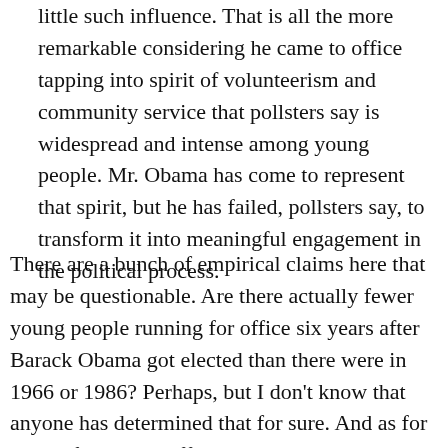little such influence. That is all the more remarkable considering he came to office tapping into spirit of volunteerism and community service that pollsters say is widespread and intense among young people. Mr. Obama has come to represent that spirit, but he has failed, pollsters say, to transform it into meaningful engagement in the political process.
There are a bunch of empirical claims here that may be questionable. Are there actually fewer young people running for office six years after Barack Obama got elected than there were in 1966 or 1986? Perhaps, but I don't know that anyone has determined that for sure. And as for more of Obama staffers going into consulting than running for office, that always happens. You could without question say the same thing about every president since political consulting became an industry. Running for office